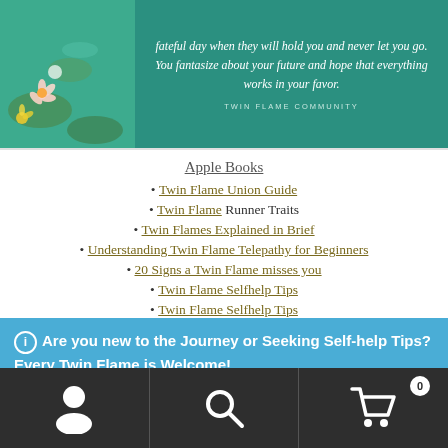[Figure (photo): Banner image with teal/green watercolor background and flowers on left side, and italic quote text on the right: 'fateful day when they will hold you and never let you go. You fantasize about your future and hope that everything works in your favor.' with attribution 'TWIN FLAME COMMUNITY']
Apple Books
Twin Flame Union Guide
Twin Flame Runner Traits
Twin Flames Explained in Brief
Understanding Twin Flame Telepathy for Beginners
20 Signs a Twin Flame misses you
Twin Flame Selfhelp Tips
Twin Flame Selfhelp Tips
ℹ Are you new to the Journey or Seeking Self-help Tips? Every Twin Flame is Welcome!
Dismiss